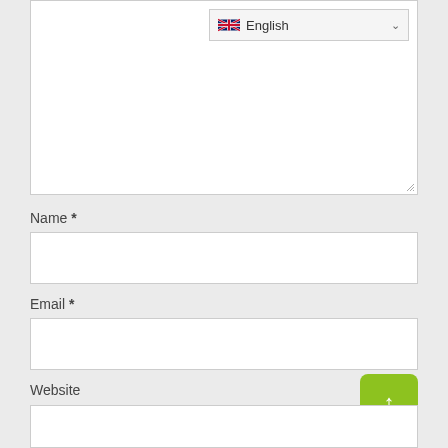[Figure (screenshot): Textarea input field with a language selector dropdown showing English with UK flag and chevron, and a resize handle at bottom right]
Name *
[Figure (screenshot): Empty text input field for Name]
Email *
[Figure (screenshot): Empty text input field for Email]
Website
[Figure (screenshot): Empty text input field for Website with a green scroll-to-top arrow button overlaid at top right]